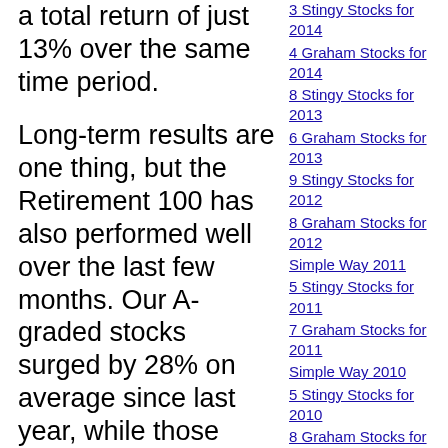a total return of just 13% over the same time period.
Long-term results are one thing, but the Retirement 100 has also performed well over the last few months. Our A-graded stocks surged by 28% on average since last year, while those rated either A or B advanced 20%. Again, our top dividend stocks beat the S&P/TSX Composite index, which moved up only 9%. (The Retirement 100 performance figures include dividends that are reinvested when we update the list. They are compared to total return index data, which more regularly reinvests all of its dividends.)
We're overjoyed with our results, but aren't
3 Stingy Stocks for 2014
4 Graham Stocks for 2014
8 Stingy Stocks for 2013
6 Graham Stocks for 2013
9 Stingy Stocks for 2012
8 Graham Stocks for 2012
Simple Way 2011
5 Stingy Stocks for 2011
7 Graham Stocks for 2011
Simple Way 2010
5 Stingy Stocks for 2010
8 Graham Stocks for 2010
Simple Way 2009
Timing Temptation
19 Stingy Stocks for 2009
4 Graham Stocks for 2009
Simple Way 2008
Active at Passive